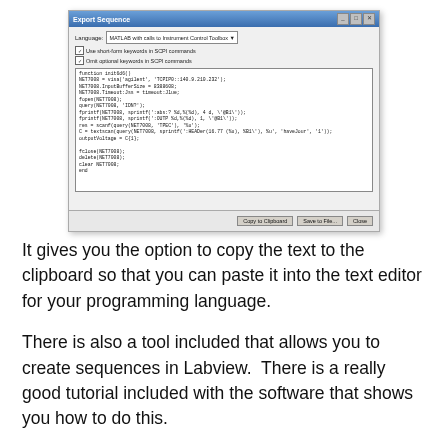[Figure (screenshot): Screenshot of an 'Export Sequence' dialog window with MATLAB with calls to Instrument Control Toolbox language option, checkboxes for 'Use short-form keywords in SCPI commands' and 'Omit optional keywords in SCPI commands', a code editor area showing MATLAB function code, and buttons: Copy to Clipboard, Save to File..., Close]
It gives you the option to copy the text to the clipboard so that you can paste it into the text editor for your programming language.
There is also a tool included that allows you to create sequences in Labview.  There is a really good tutorial included with the software that shows you how to do this.
There is a ton more info on the ACE webpage link at the